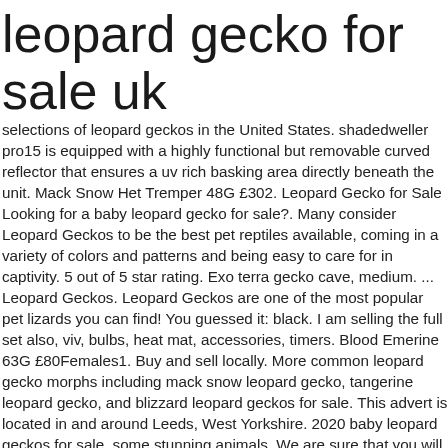leopard gecko for sale uk
selections of leopard geckos in the United States. shadedweller pro15 is equipped with a highly functional but removable curved reflector that ensures a uv rich basking area directly beneath the unit. Mack Snow Het Tremper 48G £302. Leopard Gecko for Sale Looking for a baby leopard gecko for sale?. Many consider Leopard Geckos to be the best pet reptiles available, coming in a variety of colors and patterns and being easy to care for in captivity. 5 out of 5 star rating. Exo terra gecko cave, medium. ... Leopard Geckos. Leopard Geckos are one of the most popular pet lizards you can find! You guessed it: black. I am selling the full set also, viv, bulbs, heat mat, accessories, timers. Blood Emerine 63G £80Females1. Buy and sell locally. More common leopard gecko morphs including mack snow leopard gecko, tangerine leopard gecko, and blizzard leopard geckos for sale. This advert is located in and around Leeds, West Yorkshire. 2020 baby leopard geckos for sale, some stunning animals. We are sure that you will find what you are looking for. It is very hard to pick which Leopard Gecko for sale you want. I bought this leopard gecko in September wasn't sure of the age or the gender. A medium sized and thick-bodied gecko, with adults normally reaching sizes of around 20cm (8") total length.. Leopard